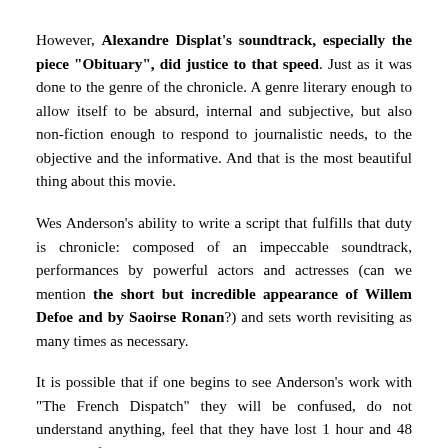However, Alexandre Displat's soundtrack, especially the piece "Obituary", did justice to that speed. Just as it was done to the genre of the chronicle. A genre literary enough to allow itself to be absurd, internal and subjective, but also non-fiction enough to respond to journalistic needs, to the objective and the informative. And that is the most beautiful thing about this movie.
Wes Anderson's ability to write a script that fulfills that duty is chronicle: composed of an impeccable soundtrack, performances by powerful actors and actresses (can we mention the short but incredible appearance of Willem Defoe and by Saoirse Ronan?) and sets worth revisiting as many times as necessary.
It is possible that if one begins to see Anderson's work with "The French Dispatch" they will be confused, do not understand anything, feel that they have lost 1 hour and 48 minutes of their time and have even detested it. The love for Wes Anderson must be acquired little by little, because his career, precisely, shows how he has devoted himself to his own style throughout his career as a director and screenwriter of his films. With "The French Dispatch", those of us who already admire it fall even more in love and those who don't understand it, because of course it is strange, perhaps they are more inded by its absurdity. That's the detail with Wes Anderson.